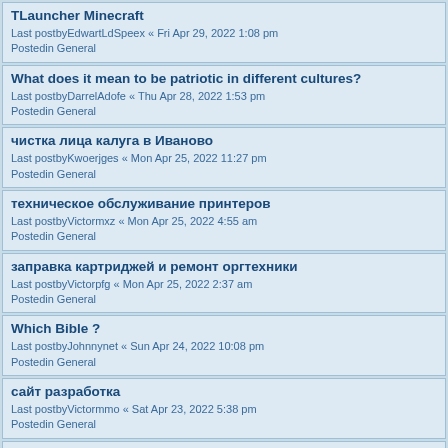TLauncher Minecraft
Last postbyEdwartLdSpeex « Fri Apr 29, 2022 1:08 pm
Postedin General
What does it mean to be patriotic in different cultures?
Last postbyDarrelAdofe « Thu Apr 28, 2022 1:53 pm
Postedin General
чистка лица калуга в Иваново
Last postbyKwoerjges « Mon Apr 25, 2022 11:27 pm
Postedin General
техническое обслуживание принтеров
Last postbyVictormxz « Mon Apr 25, 2022 4:55 am
Postedin General
заправка картриджей и ремонт оргтехники
Last postbyVictorpfg « Mon Apr 25, 2022 2:37 am
Postedin General
Which Bible ?
Last postbyJohnnynet « Sun Apr 24, 2022 10:08 pm
Postedin General
сайт разработка
Last postbyVictormmo « Sat Apr 23, 2022 5:38 pm
Postedin General
Minecraft Tlauncher Download
Last postbyOB1Post2022 « Thu Apr 21, 2022 7:04 am
Postedin General
китайское лекарство от дцп и аутизма